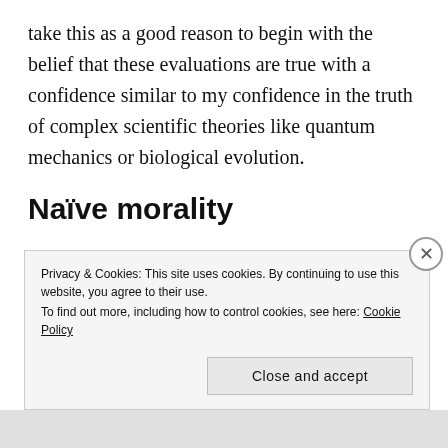take this as a good reason to begin with the belief that these evaluations are true with a confidence similar to my confidence in the truth of complex scientific theories like quantum mechanics or biological evolution.
Naïve morality
My own way of thinking about morality is a neo-Aristotelian eudaimonist framework, but I think the
Privacy & Cookies: This site uses cookies. By continuing to use this website, you agree to their use.
To find out more, including how to control cookies, see here: Cookie Policy
Close and accept